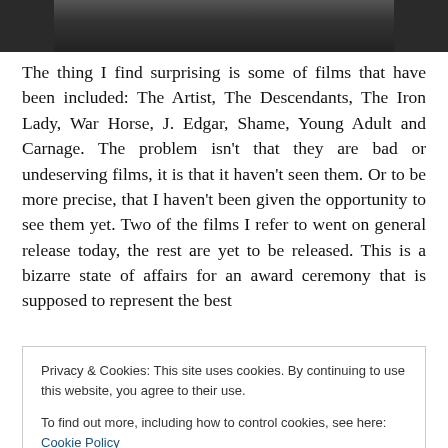[Figure (photo): Top portion of a photograph, dark background with some objects visible at the top edge]
The thing I find surprising is some of films that have been included: The Artist, The Descendants, The Iron Lady, War Horse, J. Edgar, Shame, Young Adult and Carnage. The problem isn't that they are bad or undeserving films, it is that it haven't seen them. Or to be more precise, that I haven't been given the opportunity to see them yet. Two of the films I refer to went on general release today, the rest are yet to be released. This is a bizarre state of affairs for an award ceremony that is supposed to represent the best
Privacy & Cookies: This site uses cookies. By continuing to use this website, you agree to their use.
To find out more, including how to control cookies, see here: Cookie Policy